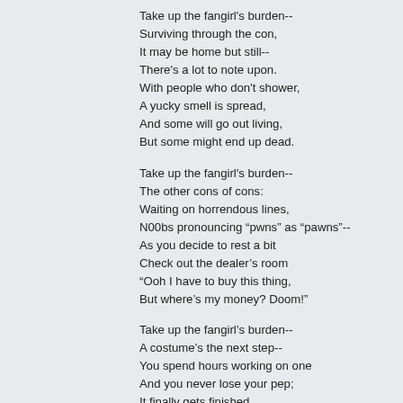Take up the fangirl's burden--
Surviving through the con,
It may be home but still--
There's a lot to note upon.
With people who don't shower,
A yucky smell is spread,
And some will go out living,
But some might end up dead.
Take up the fangirl's burden--
The other cons of cons:
Waiting on horrendous lines,
N00bs pronouncing “pwns” as “pawns”--
As you decide to rest a bit
Check out the dealer's room
“Ooh I have to buy this thing,
But where's my money? Doom!”
Take up the fangirl's burden--
A costume's the next step--
You spend hours working on one
And you never lose your pep;
It finally gets finished,
You go in it for once,
No one wants a picture
And you feel like a dunce.